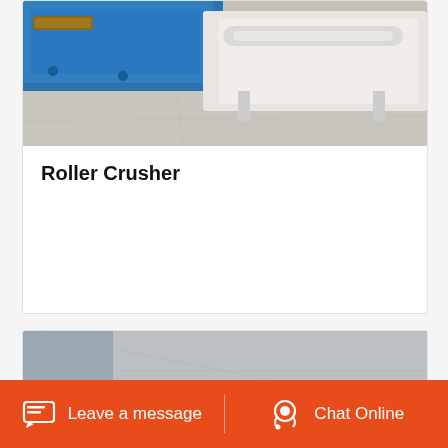[Figure (photo): Partial photo of a roller crusher machine (blue frame visible) in a factory setting, concrete floor background]
Roller Crusher
[Figure (photo): Industrial cone crusher machine in a factory warehouse — white and orange hydraulic cylinder assembly with large black flywheel, mounted on black steel frame]
Leave a message
Chat Online